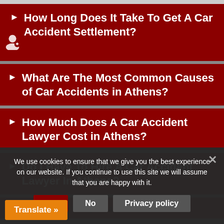How Long Does It Take To Get A Car Accident Settlement?
What Are The Most Common Causes of Car Accidents in Athens?
How Much Does A Car Accident Lawyer Cost in Athens?
Do I Have To Hire A Car Accident Lawyer In Athens?
What Can I Be Compensated For
We use cookies to ensure that we give you the best experience on our website. If you continue to use this site we will assume that you are happy with it.